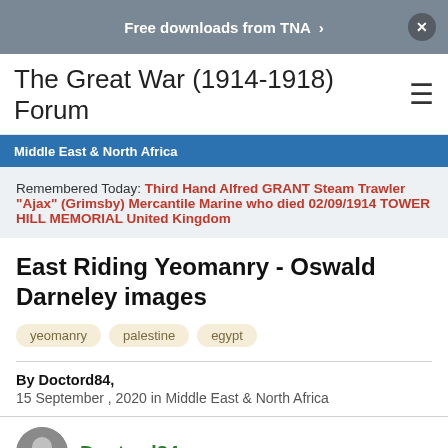Free downloads from TNA >
The Great War (1914-1918) Forum
Middle East & North Africa
Remembered Today: Third Hand Alfred GRANT Steam Trawler "Ajax" (Grimsby) Mercantile Marine who died 02/09/1914 TOWER HILL MEMORIAL United Kingdom
East Riding Yeomanry - Oswald Darneley images
yeomanry
palestine
egypt
By Doctord84,
15 September , 2020 in Middle East & North Africa
Doctord84